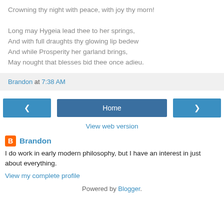Crowning thy night with peace, with joy thy morn!

Long may Hygeia lead thee to her springs,
And with full draughts thy glowing lip bedew
And while Prosperity her garland brings,
May nought that blesses bid thee once adieu.
Brandon at 7:38 AM
< Home >
View web version
Brandon
I do work in early modern philosophy, but I have an interest in just about everything.
View my complete profile
Powered by Blogger.